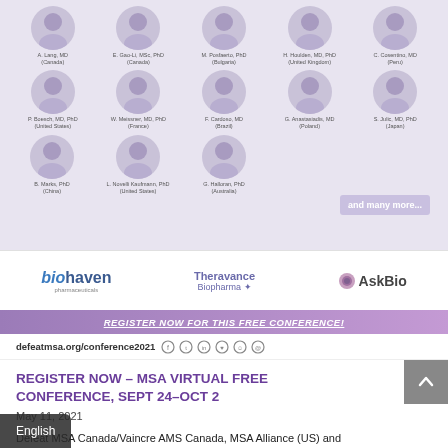[Figure (photo): Grid of speaker profile photos with names and credentials on purple/lavender background. Row 1: A. Lang MD (Canada), E. Gao-Li MSc PhD (Canada), M. Posfaerto PhD (Bulgaria), H. Houlden MD PhD (United Kingdom), C. Cosentino MD (Peru). Row 2: P. Boesch MD PhD (United States), W. Meissner MD PhD (France), F. Cardoso MD (Brazil), G. Anastasiadis MD (Poland), S. Julic MD PhD (Japan). Row 3: B. Marks PhD (China), L. Novelli Kaufmann PhD (United States), G. Halloran PhD (Australia). Also shows 'and many more...' button.]
[Figure (logo): Sponsor logos: biohaven pharmaceuticals, Theravance Biopharma, AskBio]
REGISTER NOW FOR THIS FREE CONFERENCE!
defeatmsa.org/conference2021
REGISTER NOW – MSA VIRTUAL FREE CONFERENCE, SEPT 24–OCT 2
May 11, 2021
Defeat MSA Canada/Vaincre AMS Canada, MSA Alliance (US) and allied charities in United Consortium are...